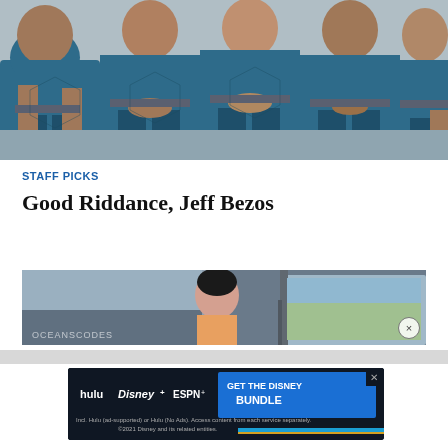[Figure (photo): Group of people seated in blue flight suits, likely space tourists or crew members]
STAFF PICKS
Good Riddance, Jeff Bezos
[Figure (photo): Vintage scene showing a woman in a classic car, partially visible, with text OCEANSCODES overlay]
[Figure (infographic): Disney Bundle advertisement banner with Hulu, Disney+, ESPN+ logos and GET THE DISNEY BUNDLE call to action. Incl. Hulu (ad-supported) or Hulu (No Ads). Access content from each service separately. ©2021 Disney and its related entities.]